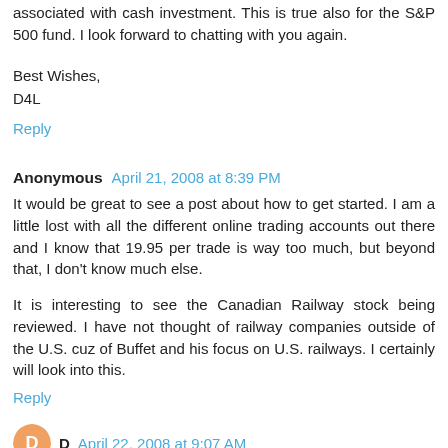associated with cash investment. This is true also for the S&P 500 fund. I look forward to chatting with you again.
Best Wishes,
D4L
Reply
Anonymous  April 21, 2008 at 8:39 PM
It would be great to see a post about how to get started. I am a little lost with all the different online trading accounts out there and I know that 19.95 per trade is way too much, but beyond that, I don't know much else.
It is interesting to see the Canadian Railway stock being reviewed. I have not thought of railway companies outside of the U.S. cuz of Buffet and his focus on U.S. railways. I certainly will look into this.
Reply
D  April 22, 2008 at 9:07 AM